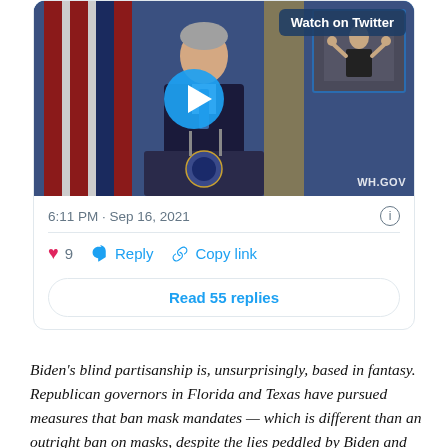[Figure (screenshot): Embedded tweet card showing a video thumbnail of President Biden at a White House podium with American flags in the background and a sign language interpreter inset. Overlaid 'Watch on Twitter' button and a blue play button circle. Tweet timestamp: 6:11 PM · Sep 16, 2021. Like count: 9. Actions: Reply, Copy link. Button: Read 55 replies.]
Biden's blind partisanship is, unsurprisingly, based in fantasy. Republican governors in Florida and Texas have pursued measures that ban mask mandates — which is different than an outright ban on masks, despite the lies peddled by Biden and other